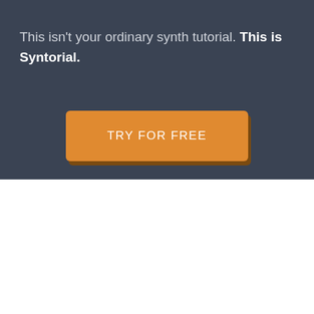This isn't your ordinary synth tutorial. This is Syntorial.
[Figure (other): Orange call-to-action button labeled TRY FOR FREE on dark background]
RAVES FROM INDUSTRY MAGS